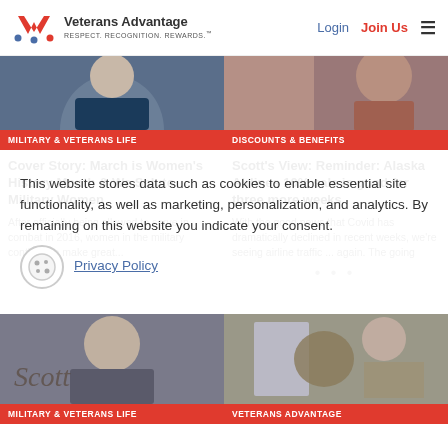Veterans Advantage — RESPECT. RECOGNITION. REWARDS. | Login | Join Us
[Figure (photo): Photo of a woman in military uniform, top portion visible]
MILITARY & VETERANS LIFE
Cover Story: March is Women's History Month & We Salute Military Women
After officially being allowed to serve in combat in 2016, women in the military continue to make great...
[Figure (photo): Photo of people, top portion visible, right column]
DISCOUNTS & BENEFITS
Scott's View: Reminder: Alaska Airlines 10% sale is good for three more weeks
With the good news that Covid has dramatically declined in recent weeks, we're seeing airline traffic ... again. The going
[Figure (photo): Photo of a man saluting, with cursive Scott signature overlay, bottom left]
MILITARY & VETERANS LIFE
[Figure (photo): Photo of a woman with American flag and eagle emblem, bottom right]
VETERANS ADVANTAGE
This website stores data such as cookies to enable essential site functionality, as well as marketing, personalization, and analytics. By remaining on this website you indicate your consent.
Privacy Policy